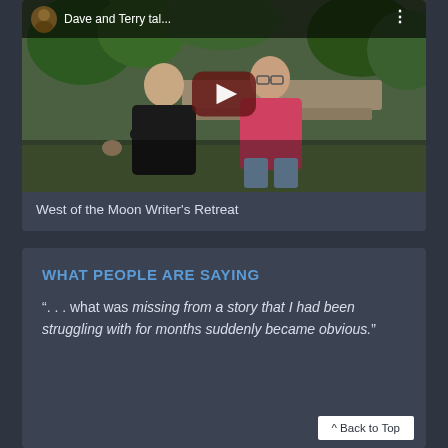[Figure (screenshot): YouTube-style video thumbnail showing two men seated outdoors, one in black shirt and one in pink shirt, with green foliage background. Title bar reads 'Dave and Terry tal...' with a play button overlay.]
West of the Moon Writer's Retreat
WHAT PEOPLE ARE SAYING
". . . what was missing from a story that I had been struggling with for months suddenly became obvious."
^ Back to Top